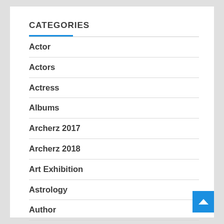CATEGORIES
Actor
Actors
Actress
Albums
Archerz 2017
Archerz 2018
Art Exhibition
Astrology
Author
Awards